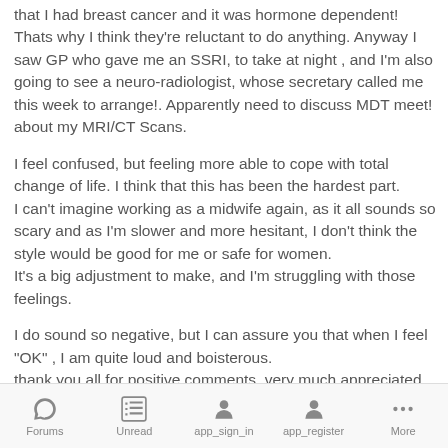that I had breast cancer and it was hormone dependent! Thats why I think they're reluctant to do anything. Anyway I saw GP who gave me an SSRI, to take at night , and I'm also going to see a neuro-radiologist, whose secretary called me this week to arrange!. Apparently need to discuss MDT meet! about my MRI/CT Scans.
I feel confused, but feeling more able to cope with total change of life. I think that this has been the hardest part. I can't imagine working as a midwife again, as it all sounds so scary and as I'm slower and more hesitant, I don't think the style would be good for me or safe for women. It's a big adjustment to make, and I'm struggling with those feelings.
I do sound so negative, but I can assure you that when I feel "OK" , I am quite loud and boisterous.
thank you all for positive comments, very much appreciated
Forums  Unread  app_sign_in  app_register  More